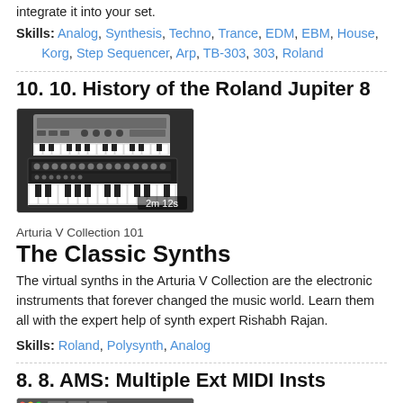everything about Volca Bass in this course and use how to integrate it into your set.
Skills: Analog, Synthesis, Techno, Trance, EDM, EBM, House, Korg, Step Sequencer, Arp, TB-303, 303, Roland
10. 10. History of the Roland Jupiter 8
[Figure (photo): Thumbnail image of Roland Jupiter 8 synthesizer showing top and front panel views with keyboard, duration label 2m 12s]
Arturia V Collection 101
The Classic Synths
The virtual synths in the Arturia V Collection are the electronic instruments that forever changed the music world. Learn them all with the expert help of synth expert Rishabh Rajan.
Skills: Roland, Polysynth, Analog
8. 8. AMS: Multiple Ext MIDI Insts
[Figure (screenshot): Screenshot of AMS (Audio MIDI Setup) application showing multiple external MIDI instruments with colored blocks on dark background]